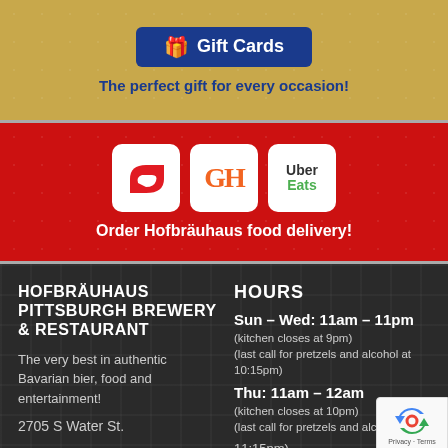[Figure (infographic): Blue Gift Cards button with gift icon on gold patterned background]
The perfect gift for every occasion!
[Figure (infographic): Red banner with DoorDash, GrubHub, and Uber Eats logos for food delivery ordering]
Order Hofbräuhaus food delivery!
HOFBRÄUHAUS PITTSBURGH BREWERY & RESTAURANT
The very best in authentic Bavarian bier, food and entertainment!
2705 S Water St.
HOURS
Sun – Wed: 11am – 11pm
(kitchen closes at 9pm)
(last call for pretzels and alcohol at 10:15pm)
Thu: 11am – 12am
(kitchen closes at 10pm)
(last call for pretzels and alcoho… 11:15pm)